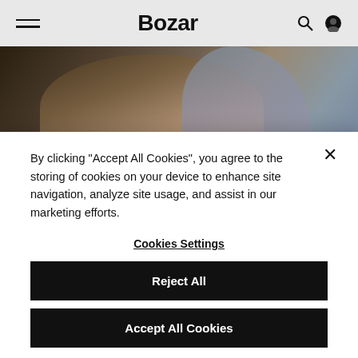Bozar
[Figure (photo): Close-up photo of a person in military or formal uniform, face partially visible, dark background]
By clicking “Accept All Cookies”, you agree to the storing of cookies on your device to enhance site navigation, analyze site usage, and assist in our marketing efforts.
Cookies Settings
Reject All
Accept All Cookies